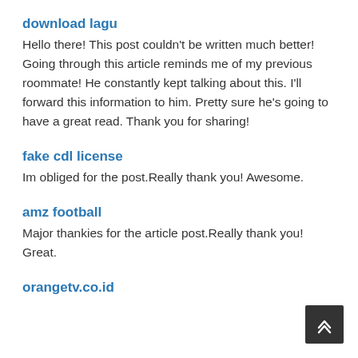download lagu
Hello there! This post couldn't be written much better! Going through this article reminds me of my previous roommate! He constantly kept talking about this. I'll forward this information to him. Pretty sure he's going to have a great read. Thank you for sharing!
fake cdl license
Im obliged for the post.Really thank you! Awesome.
amz football
Major thankies for the article post.Really thank you! Great.
orangetv.co.id